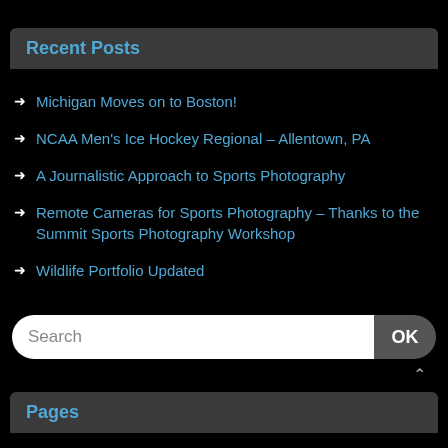Recent Posts
Michigan Moves on to Boston!
NCAA Men's Ice Hockey Regional – Allentown, PA
A Journalistic Approach to Sports Photography
Remote Cameras for Sports Photography – Thanks to the Summit Sports Photography Workshop
Wildlife Portfolio Updated
Search
Pages